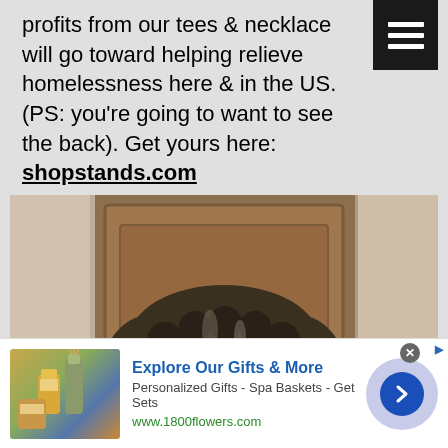profits from our tees & necklace will go toward helping relieve homelessness here & in the US. (PS: you're going to want to see the back). Get yours here: shopstands.com
[Figure (photo): A man with curly dark hair and a gray-streaked beard, wearing a black t-shirt, photographed indoors in front of a wooden door]
[Figure (infographic): Advertisement banner for 1800flowers.com showing gift products - Explore Our Gifts & More, Personalized Gifts - Spa Baskets - Get Sets, www.1800flowers.com]